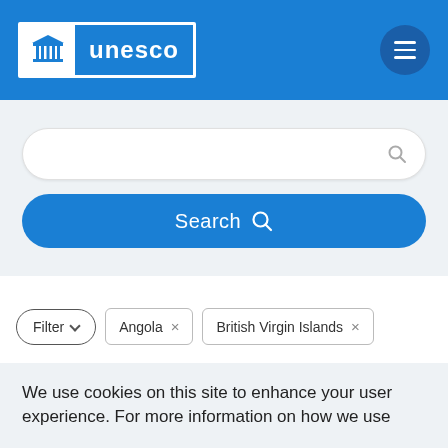UNESCO
[Figure (screenshot): UNESCO logo with white building icon and 'unesco' text in white on blue background]
[Figure (screenshot): Search input field with magnifying glass icon, empty, on light gray background]
[Figure (screenshot): Blue Search button with magnifying glass icon]
[Figure (screenshot): Filter controls row: Filter dropdown pill, Angola tag with X, British Virgin Islands tag with X]
Clear all filters
We use cookies on this site to enhance your user experience. For more information on how we use